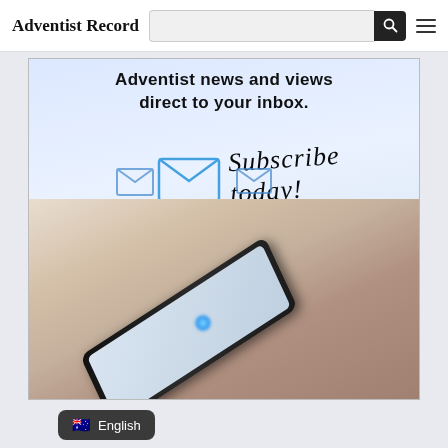Adventist Record
[Figure (illustration): Advertisement banner showing 'Adventist news and views direct to your inbox. Subscribe today!' with envelope icons flying from a hand holding a smartphone, on a light blue background.]
English